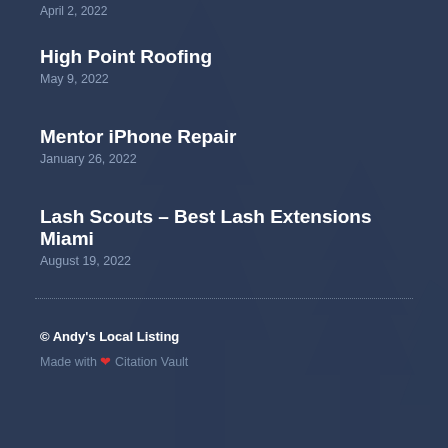High Point Roofing
May 9, 2022
Mentor iPhone Repair
January 26, 2022
Lash Scouts – Best Lash Extensions Miami
August 19, 2022
© Andy's Local Listing
Made with ❤ Citation Vault